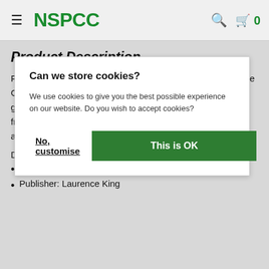NSPCC
Can we store cookies?
We use cookies to give you the best possible experience on our website. Do you wish to accept cookies?
No, customise   This is OK
Product Description
From artists to aviators and scientists to revolutionaries, Little Guides to Great Lives is a brand new series of small-format guides introducing children to the most inspirational figures from history in a fun, accessible way. Colourful illustrations and a fresh design bring their incredible stories to life.
Details
Author: Thomas, Isabel & Warren, Hannah
Publisher: Laurence King